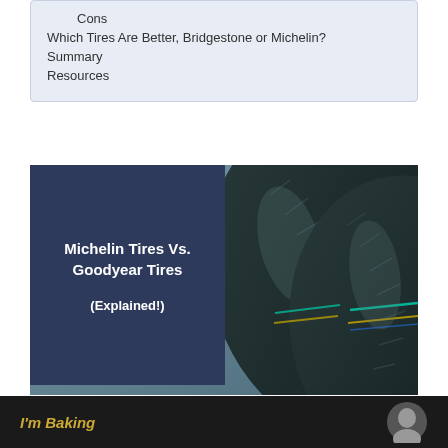Cons
Which Tires Are Better, Bridgestone or Michelin?
Summary
Resources
[Figure (photo): Stack of dark tires close-up showing tread patterns with colored sidewall markings]
Michelin Tires Vs. Goodyear Tires (Explained!)
I'm Baking